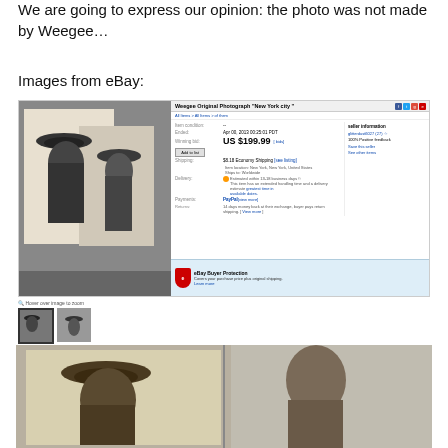We are going to express our opinion: the photo was not made by Weegee...
Images from eBay:
[Figure (screenshot): eBay listing screenshot for Weegee Original Photograph 'New York city' showing a bid of US $199.99 with seller information and eBay Buyer Protection badge, alongside a photo of two black-and-white photographs of a man wearing a hat.]
[Figure (photo): Large close-up photograph showing two vintage black-and-white prints side by side: left shows a man in a wide-brimmed hat in profile, right shows another portrait.]